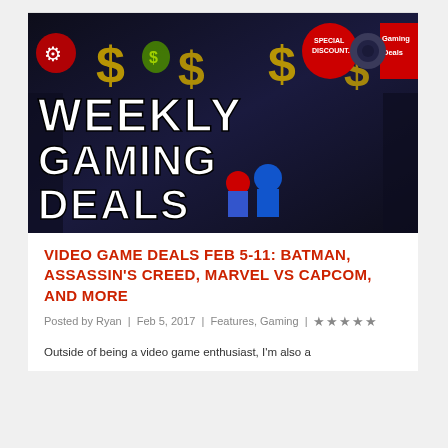[Figure (illustration): Weekly Gaming Deals banner image with gold dollar signs, game characters including Mario and Sonic, Special Discount badge, Gaming Deals badge, dark background with colorful game character silhouettes]
VIDEO GAME DEALS FEB 5-11: BATMAN, ASSASSIN'S CREED, MARVEL VS CAPCOM, AND MORE
Posted by Ryan | Feb 5, 2017 | Features, Gaming | ★★★★★
Outside of being a video game enthusiast, I'm also a